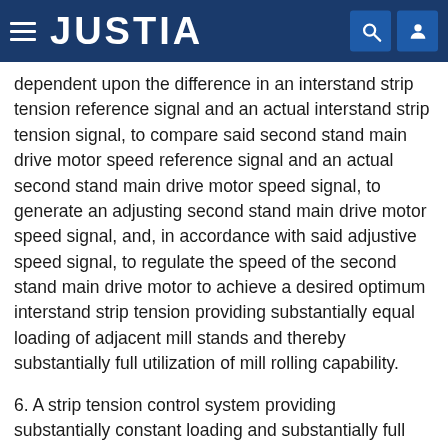JUSTIA
dependent upon the difference in an interstand strip tension reference signal and an actual interstand strip tension signal, to compare said second stand main drive motor speed reference signal and an actual second stand main drive motor speed signal, to generate an adjusting second stand main drive motor speed signal, and, in accordance with said adjustive speed signal, to regulate the speed of the second stand main drive motor to achieve a desired optimum interstand strip tension providing substantially equal loading of adjacent mill stands and thereby substantially full utilization of mill rolling capability.
6. A strip tension control system providing substantially constant loading and substantially full utilization of the rolling capacity of the stands of a tandem rolling mill having at least a first upstream rolling stand and at least